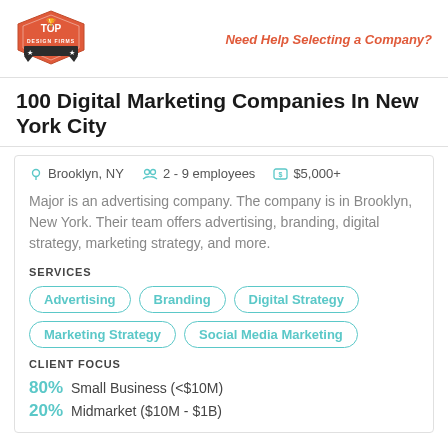Top Design Firms | Need Help Selecting a Company?
100 Digital Marketing Companies In New York City
Brooklyn, NY   2 - 9 employees   $5,000+
Major is an advertising company. The company is in Brooklyn, New York. Their team offers advertising, branding, digital strategy, marketing strategy, and more.
SERVICES
Advertising
Branding
Digital Strategy
Marketing Strategy
Social Media Marketing
CLIENT FOCUS
80% Small Business (<$10M)
20% Midmarket ($10M - $1B)